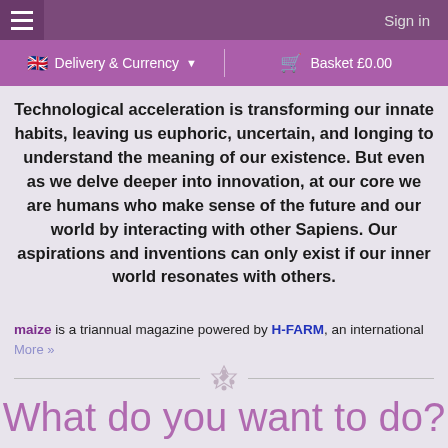Sign in
Delivery & Currency ▼   |   Basket £0.00
Technological acceleration is transforming our innate habits, leaving us euphoric, uncertain, and longing to understand the meaning of our existence. But even as we delve deeper into innovation, at our core we are humans who make sense of the future and our world by interacting with other Sapiens. Our aspirations and inventions can only exist if our inner world resonates with others.
maize is a triannual magazine powered by H-FARM, an international
More »
What do you want to do?